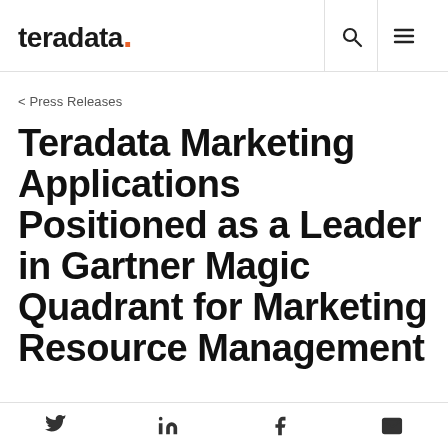teradata.
< Press Releases
Teradata Marketing Applications Positioned as a Leader in Gartner Magic Quadrant for Marketing Resource Management
Social share icons: Twitter, LinkedIn, Facebook, Email